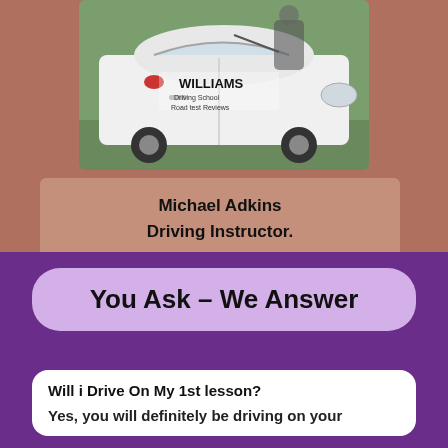[Figure (photo): Photo of a white Williams Driving School car with 'WILLIAMS Driving School Road Test Reviews' text on the door. A person is partially visible getting into the car.]
Michael Adkins
Driving Instructor.
You Ask – We Answer
Will i Drive On My 1st lesson?
Yes, you will definitely be driving on your